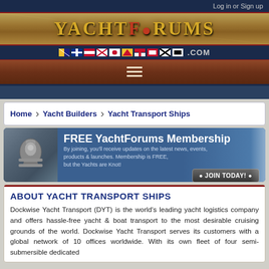Log in or Sign up
[Figure (logo): YachtForums logo with nautical flags and .COM text]
[Figure (infographic): Hamburger menu icon on wood-texture background]
Home > Yacht Builders > Yacht Transport Ships
[Figure (infographic): FREE YachtForums Membership banner ad with cleat image and JOIN TODAY button]
ABOUT YACHT TRANSPORT SHIPS
Dockwise Yacht Transport (DYT) is the world's leading yacht logistics company and offers hassle-free yacht & boat transport to the most desirable cruising grounds of the world. Dockwise Yacht Transport serves its customers with a global network of 10 offices worldwide. With its own fleet of four semi-submersible dedicated